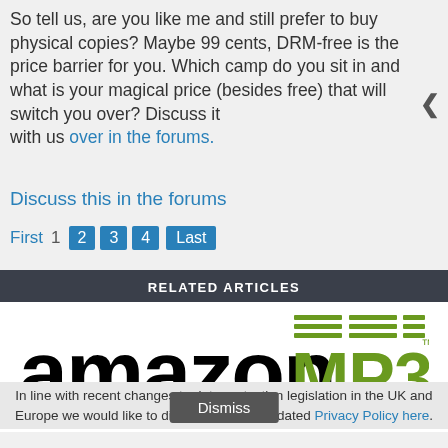So tell us, are you like me and still prefer to buy physical copies? Maybe 99 cents, DRM-free is the price barrier for you. Which camp do you sit in and what is your magical price (besides free) that will switch you over? Discuss it with us over in the forums.
Discuss this in the forums
First  1  2  3  4  Last
RELATED ARTICLES
[Figure (logo): Amazon MP3 logo — black Amazon wordmark with arrow smile, green MP3 text with horizontal line decorations]
In line with recent changes to data protection legislation in the UK and Europe we would like to direct you to our updated Privacy Policy here.
Dismiss